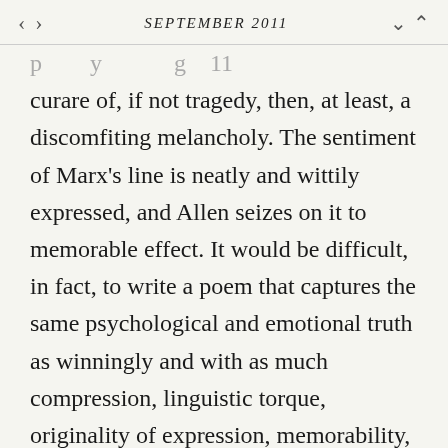SEPTEMBER 2011
curare of, if not tragedy, then, at least, a discomfiting melancholy. The sentiment of Marx's line is neatly and wittily expressed, and Allen seizes on it to memorable effect. It would be difficult, in fact, to write a poem that captures the same psychological and emotional truth as winningly and with as much compression, linguistic torque, originality of expression, memorability, and sheer pleasure (though Philip Larkin's “Annus Mirabilis” comes close).